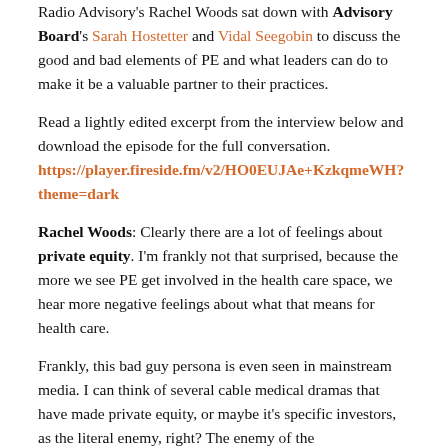Radio Advisory's Rachel Woods sat down with Advisory Board's Sarah Hostetter and Vidal Seegobin to discuss the good and bad elements of PE and what leaders can do to make it be a valuable partner to their practices.
Read a lightly edited excerpt from the interview below and download the episode for the full conversation. https://player.fireside.fm/v2/HO0EUJAe+KzkqmeWH?theme=dark
Rachel Woods: Clearly there are a lot of feelings about private equity. I'm frankly not that surprised, because the more we see PE get involved in the health care space, we hear more negative feelings about what that means for health care.
Frankly, this bad guy persona is even seen in mainstream media. I can think of several cable medical dramas that have made private equity, or maybe it's specific investors, as the literal enemy, right? The enemy of the